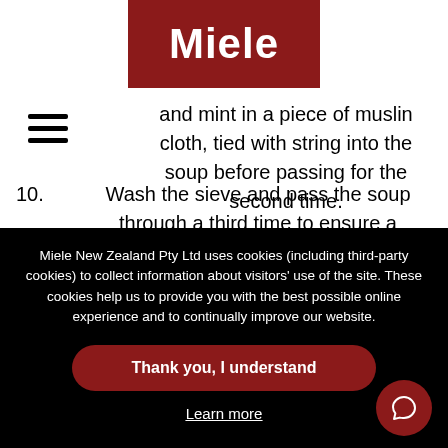[Figure (logo): Miele logo - white bold text on dark red/maroon background]
[Figure (other): Hamburger menu icon - three horizontal black lines]
and mint in a piece of muslin cloth, tied with string into the soup before passing for the second time.
10. Wash the sieve and pass the soup through a third time to ensure a smooth consistency and
Miele New Zealand Pty Ltd uses cookies (including third-party cookies) to collect information about visitors' use of the site. These cookies help us to provide you with the best possible online experience and to continually improve our website.
Thank you, I understand
Learn more